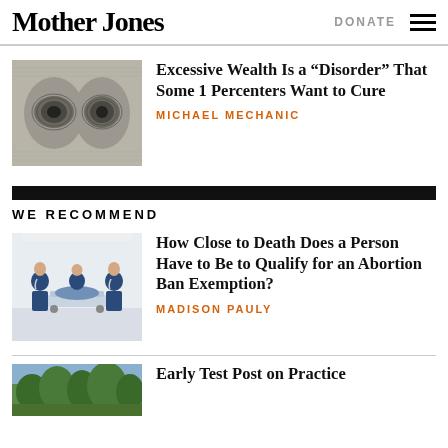Mother Jones | DONATE
[Figure (photo): Close-up of a dollar bill showing eyes of portrait]
Excessive Wealth Is a “Disorder” That Some 1 Percenters Want to Cure
MICHAEL MECHANIC
WE RECOMMEND
[Figure (photo): Medical workers in scrubs pushing a patient on a gurney in a hospital corridor]
How Close to Death Does a Person Have to Be to Qualify for an Abortion Ban Exemption?
MADISON PAULY
[Figure (photo): Outdoor scene with green trees]
Early Test Post on Practice